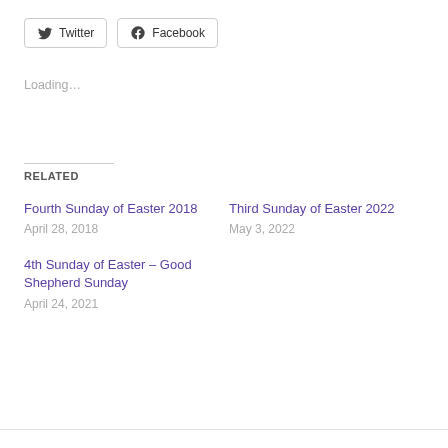Twitter  Facebook
Loading…
RELATED
Fourth Sunday of Easter 2018
April 28, 2018
Third Sunday of Easter 2022
May 3, 2022
4th Sunday of Easter – Good Shepherd Sunday
April 24, 2021